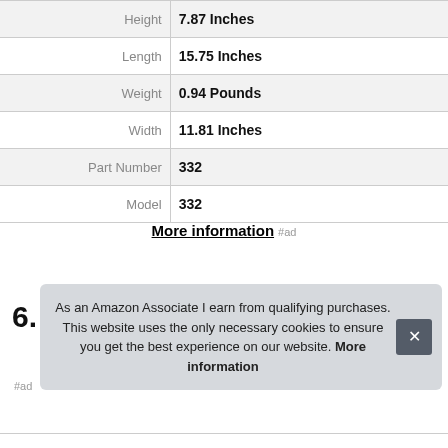| Height | 7.87 Inches |
| Length | 15.75 Inches |
| Weight | 0.94 Pounds |
| Width | 11.81 Inches |
| Part Number | 332 |
| Model | 332 |
More information #ad
6.
As an Amazon Associate I earn from qualifying purchases. This website uses the only necessary cookies to ensure you get the best experience on our website. More information
#ad